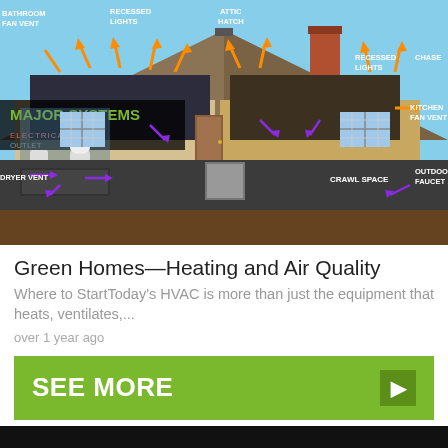[Figure (illustration): Cross-section diagram of a house showing major systems including HVAC, electrical, and air quality components. Labels include: BATHROOM FAN VENT, RECESSED LIGHTS, ATTIC HATCH, RECESSED LIGHTS, CHASE, KITCHEN FAN VENT, DRYER VENT, CRAWL SPACE, OUTDOOR FAUCET, ELECTRICAL OUTLET, MAJOR SYSTEMS label overlay. Orange arrows show air flow from attic; purple arrows show air movement in rooms; blue arrows show basement air flow.]
Green Homes—Heating and Air Quality
Where to StartToday's HVAC is more than just the equipment that heats, ventilates,...
over 1 year ago
SEE MORE